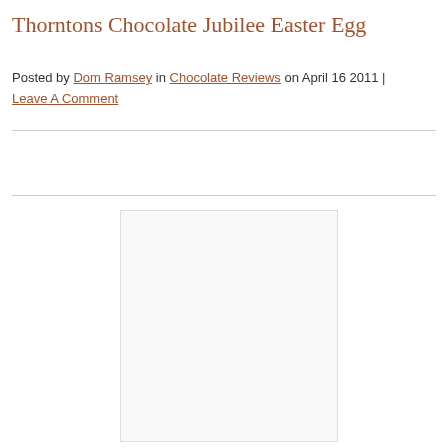Thorntons Chocolate Jubilee Easter Egg
Posted by Dom Ramsey in Chocolate Reviews on April 16 2011 | Leave A Comment
[Figure (photo): Blank/white image placeholder for Thorntons Chocolate Jubilee Easter Egg product photo]